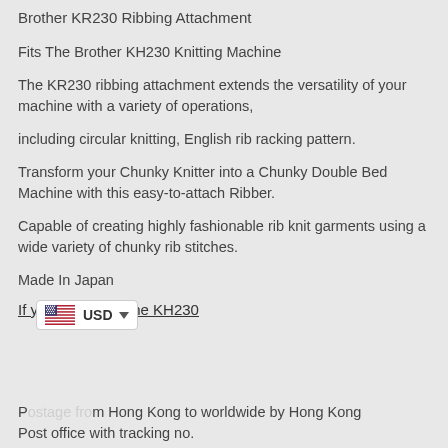Brother KR230 Ribbing Attachment
Fits The Brother KH230 Knitting Machine
The KR230 ribbing attachment extends the versatility of your machine with a variety of operations,
including circular knitting, English rib racking pattern.
Transform your Chunky Knitter into a Chunky Double Bed Machine with this easy-to-attach Ribber.
Capable of creating highly fashionable rib knit garments using a wide variety of chunky rib stitches.
Made In Japan
If you also need the KH230
[Figure (screenshot): Currency selector widget showing US flag and USD dropdown]
Postage from Hong Kong to worldwide by Hong Kong Post office with tracking no.